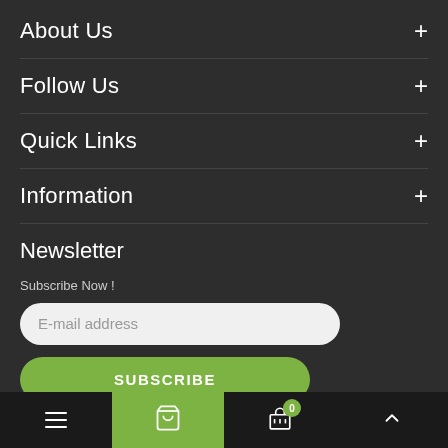About Us +
Follow Us +
Quick Links +
Information +
Newsletter
Subscribe Now !
E-mail address
SUBSCRIBE
Navigation bar with menu, cart, basket (0), and scroll-to-top icons